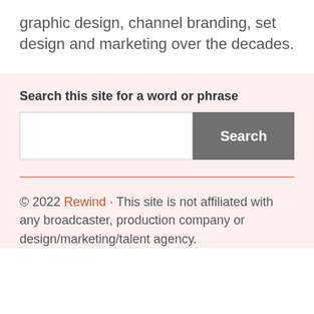graphic design, channel branding, set design and marketing over the decades.
Search this site for a word or phrase
[Figure (screenshot): Search input box with a grey Search button]
© 2022 Rewind · This site is not affiliated with any broadcaster, production company or design/marketing/talent agency.